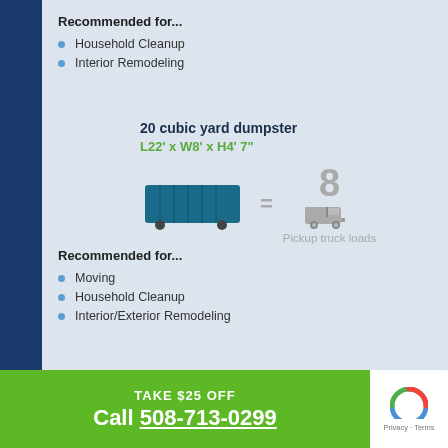Recommended for...
Household Cleanup
Interior Remodeling
20 cubic yard dumpster
L22' x W8' x H4' 7"
[Figure (infographic): Dumpster icon equals 8 pickup truck loads illustration]
Recommended for...
Moving
Household Cleanup
Interior/Exterior Remodeling
TAKE $25 OFF
Call 508-713-0299